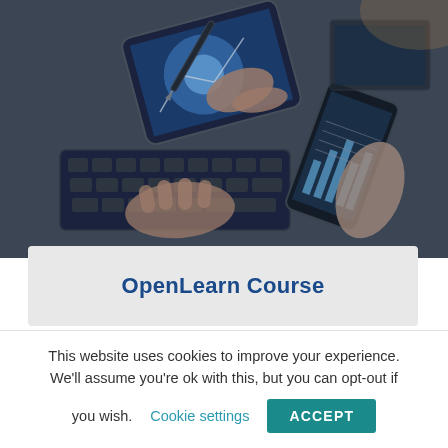[Figure (photo): Overhead photo of hands using digital devices — a tablet with stylus, a keyboard, and a smartphone showing charts — on a wooden desk surface, in blue-tinted tones]
OpenLearn Course
This website uses cookies to improve your experience. We'll assume you're ok with this, but you can opt-out if you wish. Cookie settings ACCEPT